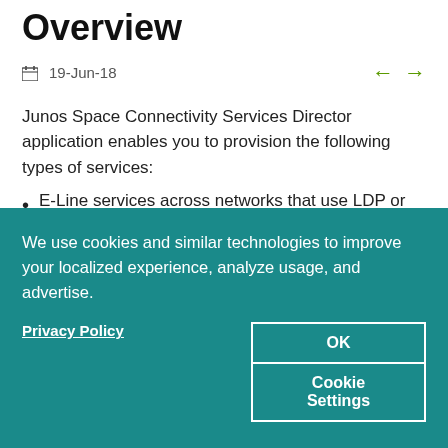Junos Space Layer 2 Services Overview
19-Jun-18
Junos Space Connectivity Services Director application enables you to provision the following types of services:
E-Line services across networks that use LDP or BGP for signaling in the network core. These services use
We use cookies and similar technologies to improve your localized experience, analyze usage, and advertise.
Privacy Policy
OK
Cookie Settings